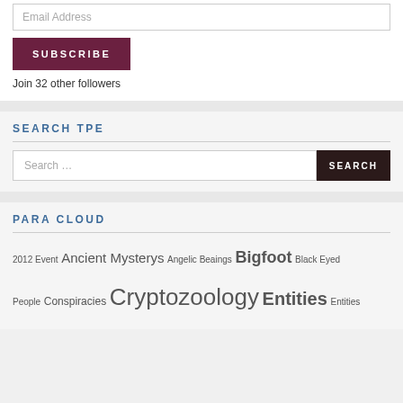Email Address
SUBSCRIBE
Join 32 other followers
SEARCH TPE
Search …
SEARCH
PARA CLOUD
2012 Event
Ancient Mysterys
Angelic Bea​ings
Bigfoot
Black Eyed People
Conspiracies
Cryptozoology
Entities
Entities